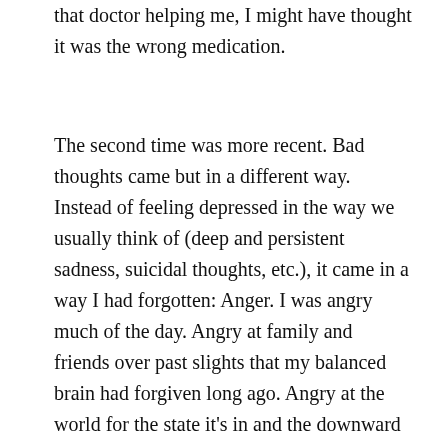that doctor helping me, I might have thought it was the wrong medication.
The second time was more recent. Bad thoughts came but in a different way. Instead of feeling depressed in the way we usually think of (deep and persistent sadness, suicidal thoughts, etc.), it came in a way I had forgotten: Anger. I was angry much of the day. Angry at family and friends over past slights that my balanced brain had forgiven long ago. Angry at the world for the state it's in and the downward spiral we seem to be in. Unreasonably angry. But when the new medicine kicked in, I was back to being happy. And I am proud to say I did not take my anger out on anyone, even the ones I felt angry towards.